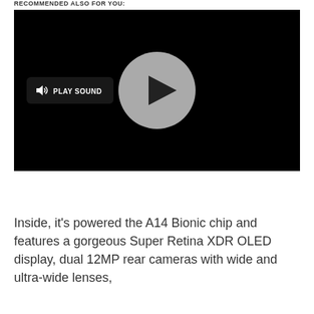RECOMMENDED ALSO FOR YOU:
[Figure (screenshot): Video player with black background showing a circular gray play button in the center and a 'PLAY SOUND' button with speaker icon on the left side]
Inside, it's powered the A14 Bionic chip and features a gorgeous Super Retina XDR OLED display, dual 12MP rear cameras with wide and ultra-wide lenses,